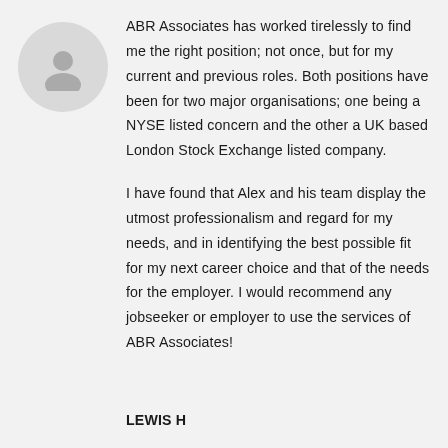[Figure (illustration): Circular avatar placeholder with a generic person silhouette icon in gray on a light gray circle background]
ABR Associates has worked tirelessly to find me the right position; not once, but for my current and previous roles. Both positions have been for two major organisations; one being a NYSE listed concern and the other a UK based London Stock Exchange listed company.

I have found that Alex and his team display the utmost professionalism and regard for my needs, and in identifying the best possible fit for my next career choice and that of the needs for the employer. I would recommend any jobseeker or employer to use the services of ABR Associates!
LEWIS H